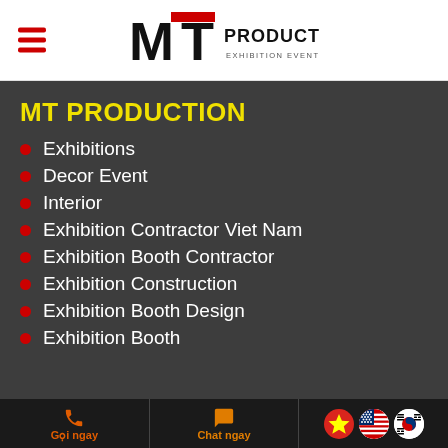MT PRODUCTION — EXHIBITION · EVENTS · INTERIOR
MT PRODUCTION
Exhibitions
Decor Event
Interior
Exhibition Contractor Viet Nam
Exhibition Booth Contractor
Exhibition Construction
Exhibition Booth Design
Exhibition Booth
Gọi ngay  Chat ngay